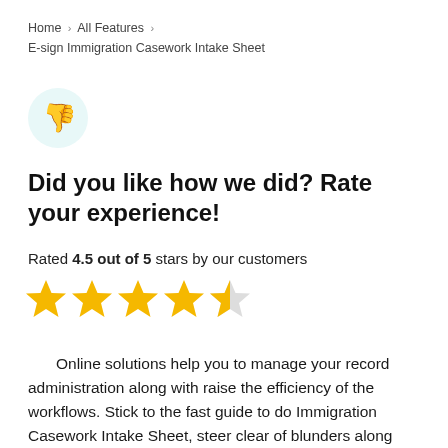Home › All Features › E-sign Immigration Casework Intake Sheet
[Figure (illustration): Thumbs down emoji icon inside a light teal circle]
Did you like how we did? Rate your experience!
Rated 4.5 out of 5 stars by our customers
[Figure (infographic): 4.5 out of 5 gold stars rating: four full stars and one half star]
Online solutions help you to manage your record administration along with raise the efficiency of the workflows. Stick to the fast guide to do Immigration Casework Intake Sheet, steer clear of blunders along with furnish it in a timely manner: